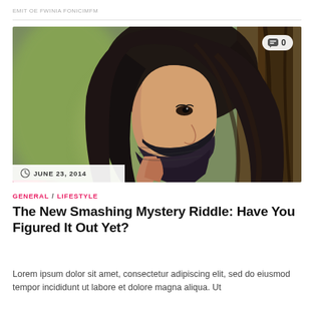EMIT OE FWINIA FONICIMFM
[Figure (photo): Portrait photo of a young woman with long dark hair, holding a dark knitted scarf up to her face, photographed outdoors with blurred green/brown trees in the background. A comment count badge showing '0' appears in the top-right corner. A colored bar accent (pink/red) appears at the bottom-left of the image, and a date label 'JUNE 23, 2014' with a clock icon overlays the bottom-left.]
GENERAL / LIFESTYLE
The New Smashing Mystery Riddle: Have You Figured It Out Yet?
Lorem ipsum dolor sit amet, consectetur adipiscing elit, sed do eiusmod tempor incididunt ut labore et dolore magna aliqua. Ut